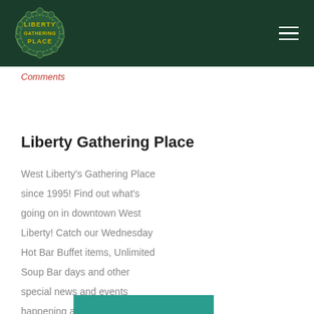[Figure (logo): Liberty Gathering Place circular green logo with text]
Comments
Liberty Gathering Place
West Liberty's Gathering Place since 1995! Find out what's going on in downtown West Liberty! Catch our Wednesday Hot Bar Buffet items, Unlimited Soup Bar days and other special news and events happening at LGP!